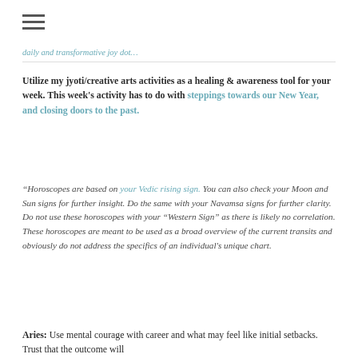daily and transformative joy dot…
Utilize my jyoti/creative arts activities as a healing & awareness tool for your week. This week's activity has to do with steppings towards our New Year, and closing doors to the past.
"Horoscopes are based on your Vedic rising sign. You can also check your Moon and Sun signs for further insight. Do the same with your Navamsa signs for further clarity. Do not use these horoscopes with your "Western Sign" as there is likely no correlation. These horoscopes are meant to be used as a broad overview of the current transits and obviously do not address the specifics of an individual's unique chart.
Aries: Use mental courage with career and what may feel like initial setbacks. Trust that the outcome will